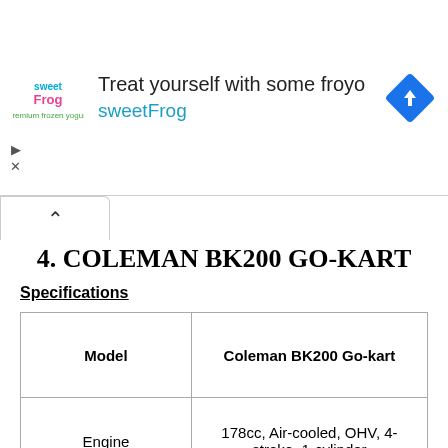[Figure (screenshot): sweetFrog advertisement banner with logo, text 'Treat yourself with some froyo sweetFrog', and a blue navigation arrow icon]
4. COLEMAN BK200 GO-KART
Specifications
| Model | Coleman BK200 Go-kart |
| --- | --- |
| Engine | 178cc, Air-cooled, OHV, 4-stroke, 1-cylinder |